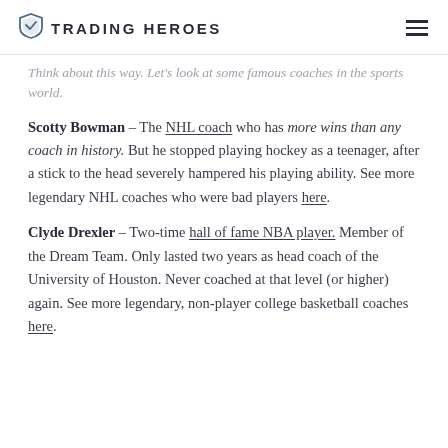TRADING HEROES
Think about this way. Let's look at some famous coaches in the sports world.
Scotty Bowman – The NHL coach who has more wins than any coach in history. But he stopped playing hockey as a teenager, after a stick to the head severely hampered his playing ability. See more legendary NHL coaches who were bad players here.
Clyde Drexler – Two-time hall of fame NBA player. Member of the Dream Team. Only lasted two years as head coach of the University of Houston. Never coached at that level (or higher) again. See more legendary, non-player college basketball coaches here.